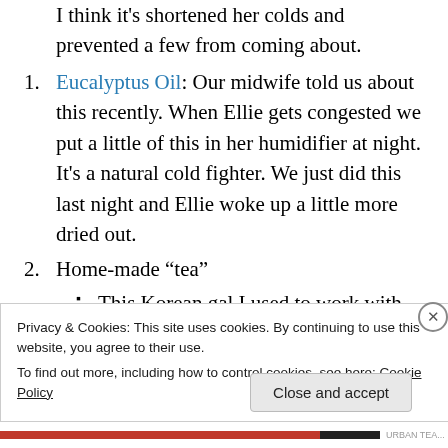I think it's shortened her colds and prevented a few from coming about.
2. Eucalyptus Oil: Our midwife told us about this recently. When Ellie gets congested we put a little of this in her humidifier at night. It's a natural cold fighter. We just did this last night and Ellie woke up a little more dried out.
3. Home-made “tea”
This Korean gal I used to work with told me about a tradition of honey and lemon tea.
Here is a “recipe” – it’s pretty dang
Privacy & Cookies: This site uses cookies. By continuing to use this website, you agree to their use.
To find out more, including how to control cookies, see here: Cookie Policy
Close and accept